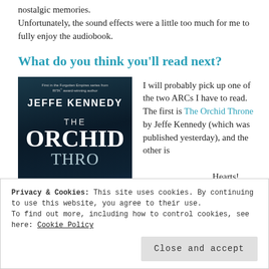nostalgic memories.
Unfortunately, the sound effects were a little too much for me to fully enjoy the audiobook.
What do you think you'll read next?
[Figure (photo): Book cover of 'The Orchid Throne' by Jeffe Kennedy, dark blue galaxy-themed cover]
I will probably pick up one of the two ARCs I have to read. The first is The Orchid Throne by Jeffe Kennedy (which was published yesterday), and the other is
Hearts!
Privacy & Cookies: This site uses cookies. By continuing to use this website, you agree to their use.
To find out more, including how to control cookies, see here: Cookie Policy
Close and accept